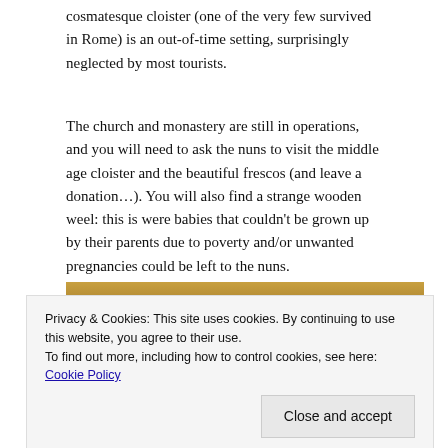cosmatesque cloister (one of the very few survived in Rome) is an out-of-time setting, surprisingly neglected by most tourists.
The church and monastery are still in operations, and you will need to ask the nuns to visit the middle age cloister and the beautiful frescos (and leave a donation…). You will also find a strange wooden weel: this is were babies that couldn't be grown up by their parents due to poverty and/or unwanted pregnancies could be left to the nuns.
[Figure (photo): A partially visible photograph, mostly dark with warm golden/brown tones at the top, appearing to show a blurred indoor scene.]
Privacy & Cookies: This site uses cookies. By continuing to use this website, you agree to their use.
To find out more, including how to control cookies, see here: Cookie Policy
Close and accept